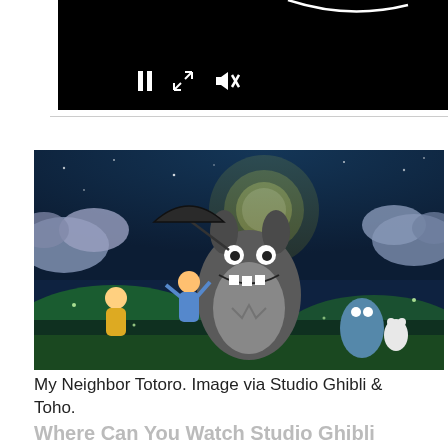[Figure (screenshot): Video player with black background showing a partially visible crescent/arc shape at top. Controls visible: pause button (two vertical bars), expand/fullscreen icon (diagonal arrows), and muted speaker icon.]
[Figure (illustration): My Neighbor Totoro promotional illustration showing Totoro (large grey creature) holding an umbrella in the center, two children celebrating below him, a small blue Totoro and white Totoro on the right, set against a moonlit night sky with clouds and trees.]
My Neighbor Totoro. Image via Studio Ghibli & Toho.
Where Can You Watch Studio Ghibli